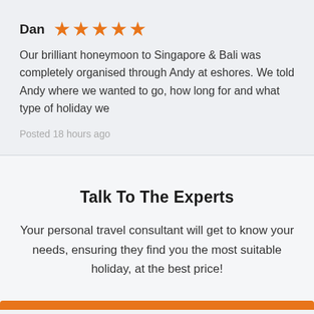Dan ★★★★★
Our brilliant honeymoon to Singapore & Bali was completely organised through Andy at eshores. We told Andy where we wanted to go, how long for and what type of holiday we
Posted 18 hours ago
Talk To The Experts
Your personal travel consultant will get to know your needs, ensuring they find you the most suitable holiday, at the best price!